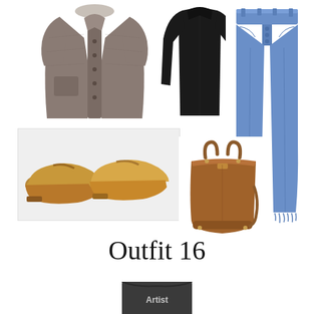[Figure (photo): Gray/brown button-front cardigan sweater on white background]
[Figure (photo): Black long-sleeve fitted top on white background]
[Figure (photo): Blue high-waisted button-fly jeans with frayed hem on white background]
[Figure (photo): Tan/camel leather loafers on light gray background]
[Figure (photo): Brown leather tote bag with crossbody strap on white background]
Outfit 16
[Figure (photo): Partial view of a person wearing a dark graphic t-shirt, cropped at bottom of image]